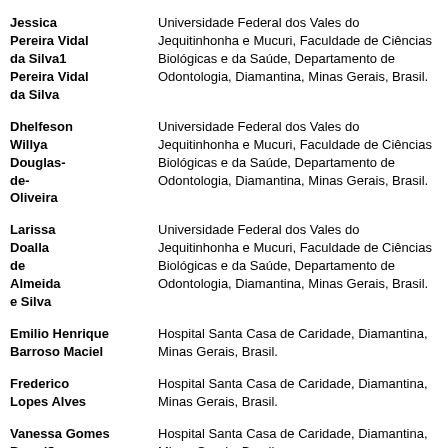Jessica Pereira Vidal da Silva1 / Pereira Vidal da Silva — Universidade Federal dos Vales do Jequitinhonha e Mucuri, Faculdade de Ciências Biológicas e da Saúde, Departamento de Odontologia, Diamantina, Minas Gerais, Brasil.
Dhelfeson Willya Douglas-de-Oliveira — Universidade Federal dos Vales do Jequitinhonha e Mucuri, Faculdade de Ciências Biológicas e da Saúde, Departamento de Odontologia, Diamantina, Minas Gerais, Brasil.
Larissa Doalla de Almeida e Silva — Universidade Federal dos Vales do Jequitinhonha e Mucuri, Faculdade de Ciências Biológicas e da Saúde, Departamento de Odontologia, Diamantina, Minas Gerais, Brasil.
Emilio Henrique Barroso Maciel — Hospital Santa Casa de Caridade, Diamantina, Minas Gerais, Brasil.
Frederico Lopes Alves — Hospital Santa Casa de Caridade, Diamantina, Minas Gerais, Brasil.
Vanessa Gomes Brandão — Hospital Santa Casa de Caridade, Diamantina, Minas Gerais, Brasil,